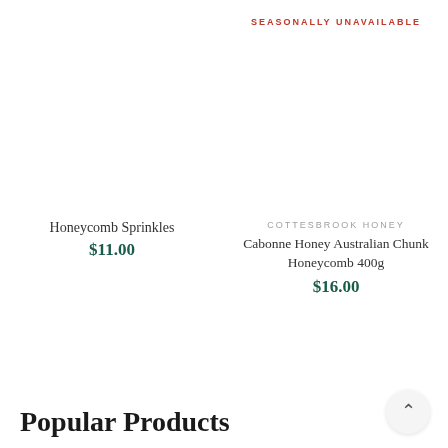SEASONALLY UNAVAILABLE
Honeycomb Sprinkles
$11.00
COTTESBROOK HONEY
Cabonne Honey Australian Chunk Honeycomb 400g
$16.00
Popular Products